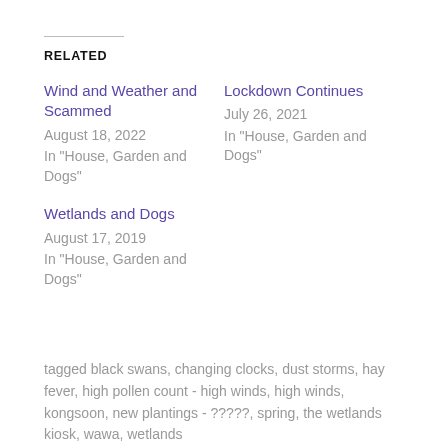RELATED
Wind and Weather and Scammed
August 18, 2022
In "House, Garden and Dogs"
Lockdown Continues
July 26, 2021
In "House, Garden and Dogs"
Wetlands and Dogs
August 17, 2019
In "House, Garden and Dogs"
tagged black swans, changing clocks, dust storms, hay fever, high pollen count - high winds, high winds, kongsoon, new plantings - ?????, spring, the wetlands kiosk, wawa, wetlands